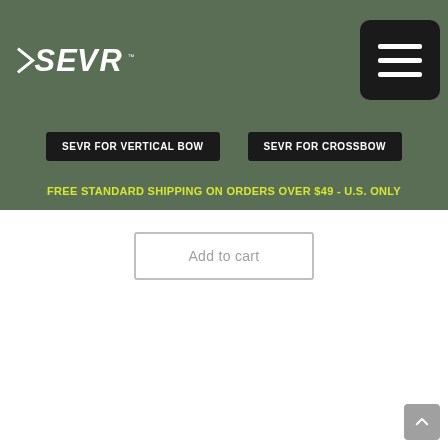[Figure (logo): SEVR brand logo in white text on olive/dark green background]
SEVR FOR VERTICAL BOW
SEVR FOR CROSSBOW
FREE STANDARD SHIPPING ON ORDERS OVER $49 - U.S. ONLY
Add to cart